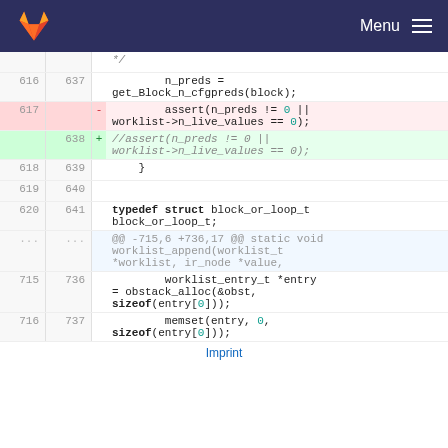GitLab — Menu
Code diff view showing lines 616-716 (old) and 637-737 (new)
Imprint